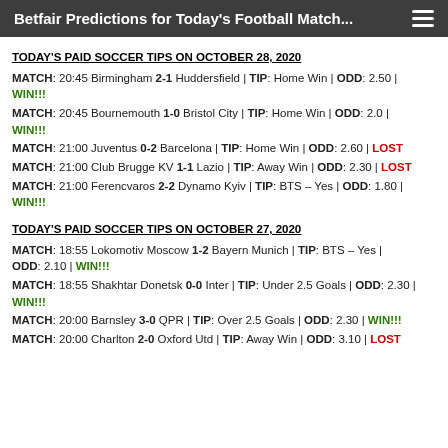Betfair Predictions for Today's Football Match...
TODAY'S PAID SOCCER TIPS ON OCTOBER 28, 2020
MATCH: 20:45 Birmingham 2-1 Huddersfield | TIP: Home Win | ODD: 2.50 | WIN!!!
MATCH: 20:45 Bournemouth 1-0 Bristol City | TIP: Home Win | ODD: 2.0 | WIN!!!
MATCH: 21:00 Juventus 0-2 Barcelona | TIP: Home Win | ODD: 2.60 | LOST
MATCH: 21:00 Club Brugge KV 1-1 Lazio | TIP: Away Win | ODD: 2.30 | LOST
MATCH: 21:00 Ferencvaros 2-2 Dynamo Kyiv | TIP: BTS – Yes | ODD: 1.80 | WIN!!!
TODAY'S PAID SOCCER TIPS ON OCTOBER 27, 2020
MATCH: 18:55 Lokomotiv Moscow 1-2 Bayern Munich | TIP: BTS – Yes | ODD: 2.10 | WIN!!!
MATCH: 18:55 Shakhtar Donetsk 0-0 Inter | TIP: Under 2.5 Goals | ODD: 2.30 | WIN!!!
MATCH: 20:00 Barnsley 3-0 QPR | TIP: Over 2.5 Goals | ODD: 2.30 | WIN!!!
MATCH: 20:00 Charlton 2-0 Oxford Utd | TIP: Away Win | ODD: 3.10 | LOST